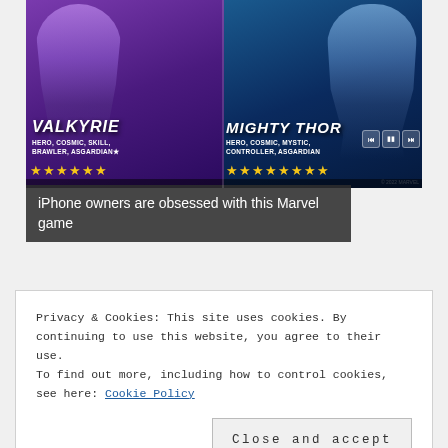[Figure (screenshot): Advertisement for a Marvel mobile game showing two heroes: Valkyrie (left, purple background, labeled HERO, COSMIC, SKILL, BRAWLER, ASGARDIAN with yellow stars) and Mighty Thor (right, blue background, labeled HERO, COSMIC, MYSTIC, CONTROLLER, ASGARDIAN with yellow stars). Media player controls visible at right.]
iPhone owners are obsessed with this Marvel game
[Figure (photo): Partially visible photo below the advertisement, appears to show a person, mostly obscured by cookie consent banner.]
Privacy & Cookies: This site uses cookies. By continuing to use this website, you agree to their use.
To find out more, including how to control cookies, see here: Cookie Policy
Close and accept